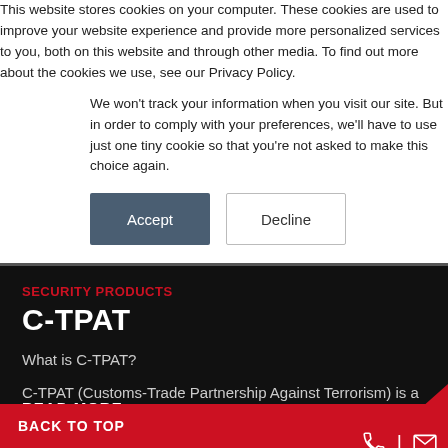This website stores cookies on your computer. These cookies are used to improve your website experience and provide more personalized services to you, both on this website and through other media. To find out more about the cookies we use, see our Privacy Policy.
We won't track your information when you visit our site. But in order to comply with your preferences, we'll have to use just one tiny cookie so that you're not asked to make this choice again.
SECURITY PRODUCTS
C-TPAT
What is C-TPAT?
C-TPAT (Customs-Trade Partnership Against Terrorism) is a US government-business initiative that was introduced
READ MORE
BACK TO TOP